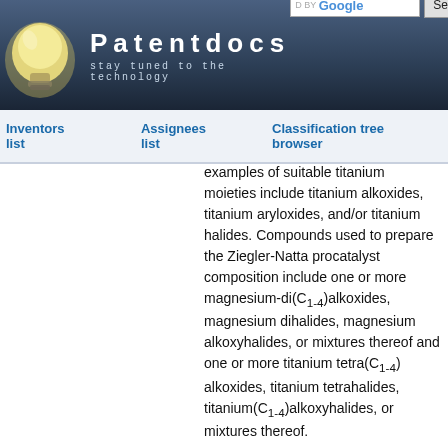Patentdocs — stay tuned to the technology
Inventors list | Assignees list | Classification tree browser
Examples of suitable titanium moieties include titanium alkoxides, titanium aryloxides, and/or titanium halides. Compounds used to prepare the Ziegler-Natta procatalyst composition include one or more magnesium-di(C1-4)alkoxides, magnesium dihalides, magnesium alkoxyhalides, or mixtures thereof and one or more titanium tetra(C1-4) alkoxides, titanium tetrahalides, titanium(C1-4)alkoxyhalides, or mixtures thereof.
[0040]A precursor composition...